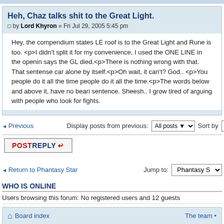Heh, Chaz talks shit to the Great Light.
□ by Lord Khyron » Fri Jul 29, 2005 5:45 pm
Hey, the compendium states LE roof is to the Great Light and Rune is too. <p>I didn't split it for my convenience, I used the ONE LINE in the opening says the GL died.<p>There is nothing wrong with that. That sentense can alone by itself.<p>Oh wait, it can't? God.. <p>You people do it all the time people do it all the time.<p>The words below and above it, have no beari sentence. Sheesh.. I grow tired of arguing with people who look for fights.
◄ Previous   Display posts from previous: All posts ▼   Sort by   Post time
POSTREPLY ↵
◄ Return to Phantasy Star   Jump to: Phantasy S
WHO IS ONLINE
Users browsing this forum: No registered users and 12 guests
⌂ Board index   The team •
Powered by phpBB © 2000, 2002, 2005, 2007 phpBB